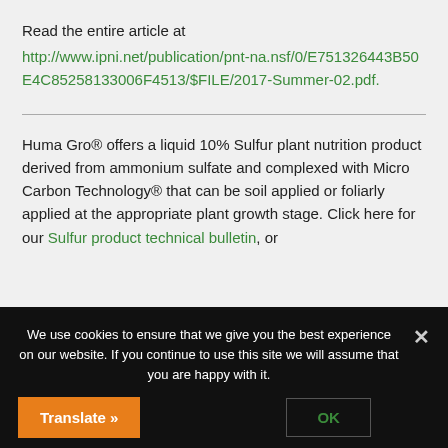Read the entire article at http://www.ipni.net/publication/pnt-na.nsf/0/E751326443B50E4C85258133006F4513/$FILE/2017-Summer-02.pdf.
Huma Gro® offers a liquid 10% Sulfur plant nutrition product derived from ammonium sulfate and complexed with Micro Carbon Technology® that can be soil applied or foliarly applied at the appropriate plant growth stage. Click here for our Sulfur product technical bulletin, or
We use cookies to ensure that we give you the best experience on our website. If you continue to use this site we will assume that you are happy with it.